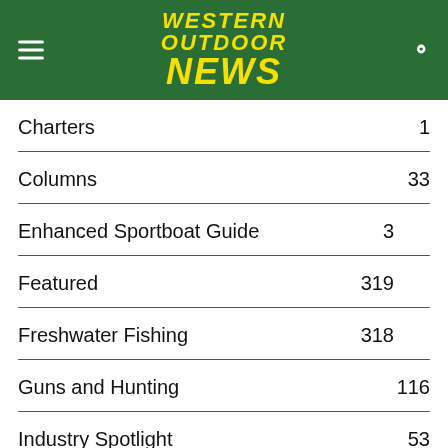WESTERN OUTDOOR NEWS
Charters 1
Columns 33
Enhanced Sportboat Guide 3
Featured 319
Freshwater Fishing 318
Guns and Hunting 116
Industry Spotlight 53
Latest Stories 407